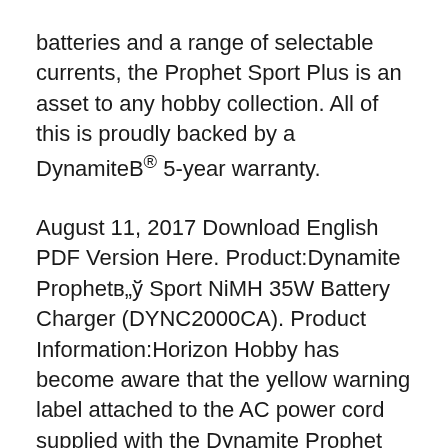batteries and a range of selectable currents, the Prophet Sport Plus is an asset to any hobby collection. All of this is proudly backed by a DynamiteB® 5-year warranty.
August 11, 2017 Download English PDF Version Here. Product:Dynamite Prophetв„ў Sport NiMH 35W Battery Charger (DYNC2000CA). Product Information:Horizon Hobby has become aware that the yellow warning label attached to the AC power cord supplied with the Dynamite Prophet Sport NiMH 35W battery charger mentions lithium battery usage.Do not use this charger with lithium batteries. 18/11/2013В В· Dynamite is making it easier than ever to upgrade from the charger included with most